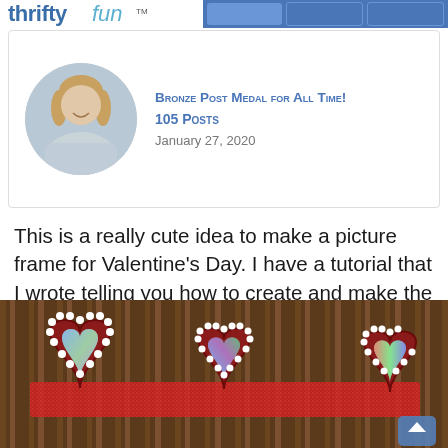thriftyfun.com — Bronze Post Medal for All Time! 105 Posts — January 27, 2020
This is a really cute idea to make a picture frame for Valentine's Day. I have a tutorial that I wrote telling you how to create and make the hearts you will use to decorate your picture frame. To see that tutorial click here: Recycled CD Mirrored Hearts. Add your favorite picture to your frame and give the gift of love on Valentine's Day.
[Figure (photo): Photo of decorative recycled CD mirrored hearts arranged on a picture frame with red glitter background and wooden sticks, white dot border detail on each heart shape.]